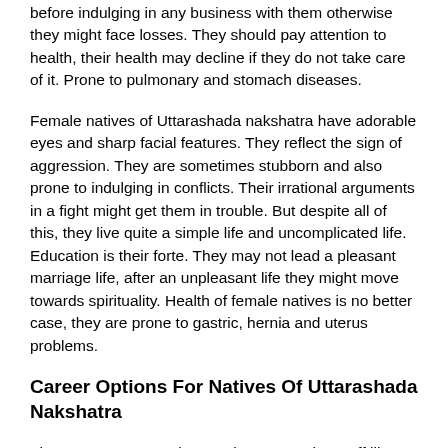before indulging in any business with them otherwise they might face losses. They should pay attention to health, their health may decline if they do not take care of it. Prone to pulmonary and stomach diseases.
Female natives of Uttarashada nakshatra have adorable eyes and sharp facial features. They reflect the sign of aggression. They are sometimes stubborn and also prone to indulging in conflicts. Their irrational arguments in a fight might get them in trouble. But despite all of this, they live quite a simple life and uncomplicated life. Education is their forte. They may not lead a pleasant marriage life, after an unpleasant life they might move towards spirituality. Health of female natives is no better case, they are prone to gastric, hernia and uterus problems.
Career Options For Natives Of Uttarashada Nakshatra
They possess career interest in constructive stuff like that of engineering industries and architectural work. They attain triumph in their profession after 38 years of age and may be compelled to aface some struggles in the beginning. The